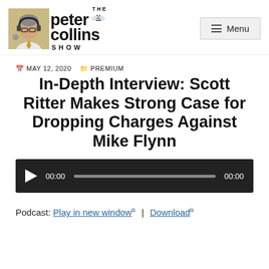The Peter Collins Show — Menu
MAY 12, 2020  PREMIUM
In-Depth Interview: Scott Ritter Makes Strong Case for Dropping Charges Against Mike Flynn
[Figure (other): Audio player with play button, 00:00 timestamp, progress bar, and 00:00 end timestamp on dark background]
Podcast: Play in new window | Download